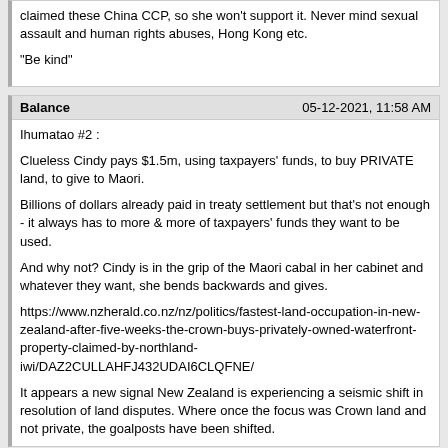...claimed these China CCP, so she won't support it. Never mind sexual assault and human rights abuses, Hong Kong etc.

"Be kind"
Balance | 05-12-2021, 11:58 AM

Ihumatao #2 :

Clueless Cindy pays $1.5m, using taxpayers' funds, to buy PRIVATE land, to give to Maori.

Billions of dollars already paid in treaty settlement but that's not enough - it always has to more & more of taxpayers' funds they want to be used.

And why not? Cindy is in the grip of the Maori cabal in her cabinet and whatever they want, she bends backwards and gives.

https://www.nzherald.co.nz/nz/politics/fastest-land-occupation-in-new-zealand-after-five-weeks-the-crown-buys-privately-owned-waterfront-property-claimed-by-northland-iwi/DAZ2CULLAHFJ432UDAI6CLQFNE/

It appears a new signal New Zealand is experiencing a seismic shift in resolution of land disputes. Where once the focus was Crown land and not private, the goalposts have been shifted.
Getty | 05-12-2021, 12:23 PM

Dedication to Panda.

Not 6 months in a leaky boat, but 4 years under a socialist dream of police shootings and rampant crime.

https://youtu.be/2En0ZyjQgU4